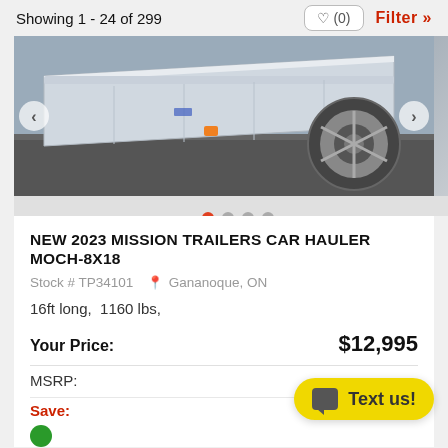Showing 1 - 24 of 299
[Figure (photo): Photo of a silver/aluminum flatbed trailer (car hauler) with a large wheel/tire visible on the right side. Carousel with 4 dots, first dot active (red).]
NEW 2023 MISSION TRAILERS CAR HAULER MOCH-8X18
Stock # TP34101  Gananoque, ON
16ft long,  1160 lbs,
Your Price:    $12,995
MSRP:    $13,618
Save: